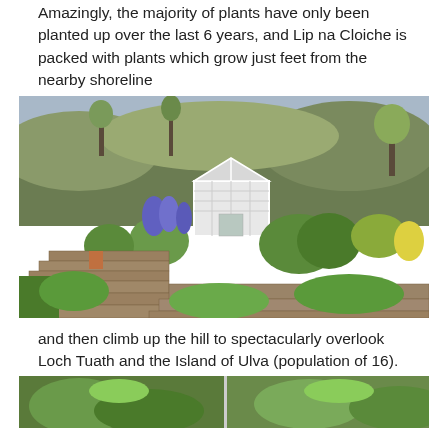Amazingly, the majority of plants have only been planted up over the last 6 years, and Lip na Cloiche is packed with plants which grow just feet from the nearby shoreline
[Figure (photo): A hillside garden with stone steps, lush green plants, shrubs, blue flowers, and a white Victorian-style greenhouse/glasshouse in the centre. Wooded hillside in background with grey sky.]
and then climb up the hill to spectacularly overlook Loch Tuath and the Island of Ulva (population of 16).
[Figure (photo): Bottom portion of another garden photograph, partially visible at the bottom of the page.]